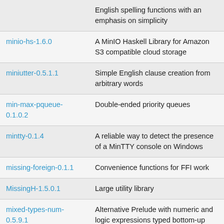| Package | Description |
| --- | --- |
| miniutter-0.5.1.1 (partial top) | English spelling functions with an emphasis on simplicity |
| minio-hs-1.6.0 | A MinIO Haskell Library for Amazon S3 compatible cloud storage |
| miniutter-0.5.1.1 | Simple English clause creation from arbitrary words |
| min-max-pqueue-0.1.0.2 | Double-ended priority queues |
| mintty-0.1.4 | A reliable way to detect the presence of a MinTTY console on Windows |
| missing-foreign-0.1.1 | Convenience functions for FFI work |
| MissingH-1.5.0.1 | Large utility library |
| mixed-types-num-0.5.9.1 | Alternative Prelude with numeric and logic expressions typed bottom-up |
| mmap-0.5.9 | Memory mapped files for POSIX and Windows |